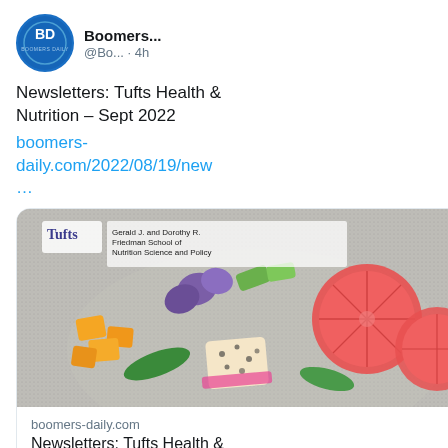[Figure (screenshot): Twitter/social media screenshot showing a tweet from 'Boomers...' account (@Bo...) posted 4h ago with Twitter bird icon. Tweet text: 'Newsletters: Tufts Health & Nutrition – Sept 2022' with link 'boomers-daily.com/2022/08/19/new...' and a link preview card showing a Tufts Friedman School of Nutrition Science and Policy image with colorful fruit bowl, domain 'boomers-daily.com', title 'Newsletters: Tufts Health & Nutrition – Sept 2022'. Comment and heart action icons below. Partial second tweet visible at bottom showing same BD avatar and 'Boomers' text with Twitter bird. Right half of page is black.]